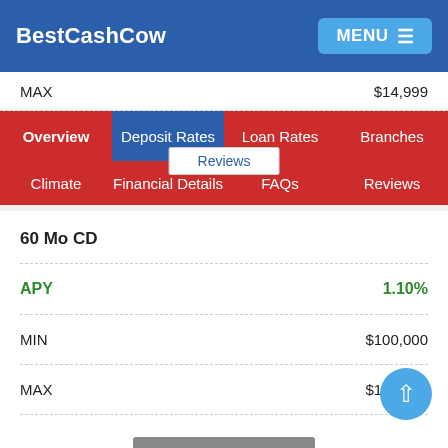BestCashCow  MENU
|  |  |
| --- | --- |
| MAX | $14,999 |
Overview  Deposit Rates  Loan Rates  Branches
Climate  Financial Details  FAQs  Reviews
60 Mo CD
|  |  |
| --- | --- |
| APY | 1.10% |
| MIN | $100,000 |
| MAX | $199,999 |
Learn More
Reviews